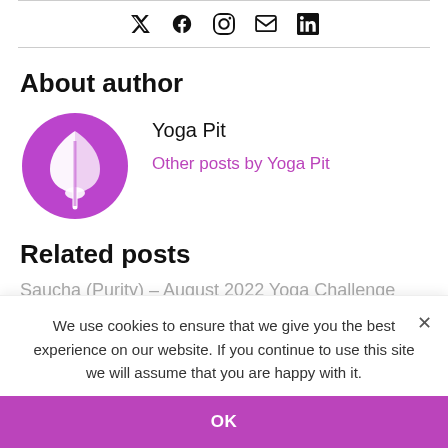[Figure (logo): Social sharing icons: Twitter, Facebook, Pinterest, Email, LinkedIn]
About author
[Figure (logo): Yoga Pit circular logo — purple circle with white leaf/plant shape]
Yoga Pit
Other posts by Yoga Pit
Related posts
Saucha (Purity) – August 2022 Yoga Challenge
We use cookies to ensure that we give you the best experience on our website. If you continue to use this site we will assume that you are happy with it.
OK